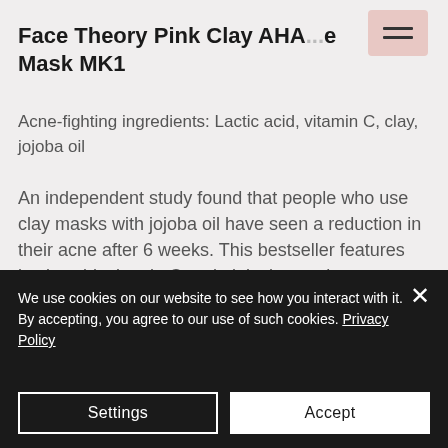Face Theory Pink Clay AHA... e Mask MK1
Acne-fighting ingredients: Lactic acid, vitamin C, clay, jojoba oil
An independent study found that people who use clay masks with jojoba oil have seen a reduction in their acne after 6 weeks. This bestseller features lactic acid, vitamin C and pink clay to cleanse pores and promote cell
We use cookies on our website to see how you interact with it. By accepting, you agree to our use of such cookies. Privacy Policy
Settings
Accept